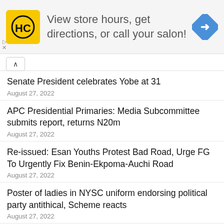[Figure (infographic): Advertisement banner: HC salon logo on yellow background, text 'View store hours, get directions, or call your salon!', blue diamond arrow icon on right]
Senate President celebrates Yobe at 31
August 27, 2022
APC Presidential Primaries: Media Subcommittee submits report, returns N20m
August 27, 2022
Re-issued: Esan Youths Protest Bad Road, Urge FG To Urgently Fix Benin-Ekpoma-Auchi Road
August 27, 2022
Poster of ladies in NYSC uniform endorsing political party antithical, Scheme reacts
August 27, 2022
Experts fault ASUU President on “No work no pay“,